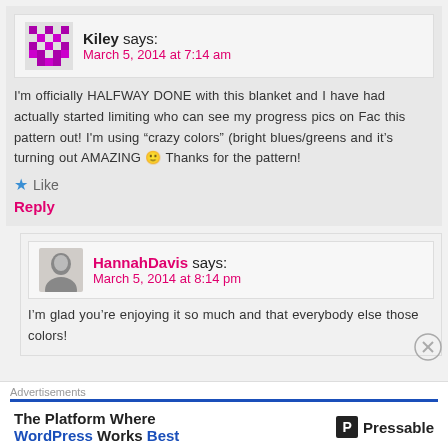Kiley says:
March 5, 2014 at 7:14 am
I'm officially HALFWAY DONE with this blanket and I have had actually started limiting who can see my progress pics on Fac this pattern out! I'm using “crazy colors” (bright blues/greens and it’s turning out AMAZING 🙂 Thanks for the pattern!
★ Like
Reply
HannahDavis says:
March 5, 2014 at 8:14 pm
I’m glad you’re enjoying it so much and that everybody else those colors!
Advertisements
The Platform Where WordPress Works Best
Pressable